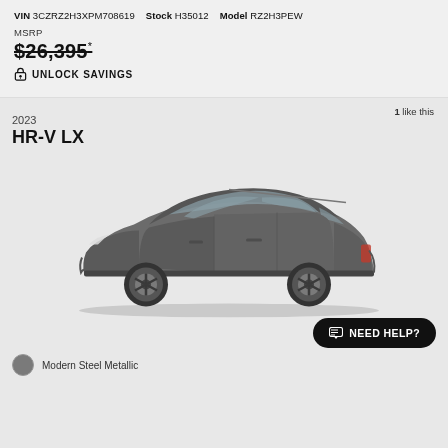VIN 3CZRZ2H3XPM708619   Stock H35012   Model RZ2H3PEW
MSRP
$26,395*
UNLOCK SAVINGS
1 like this
2023
HR-V LX
[Figure (photo): Side profile view of a 2023 Honda HR-V LX in Modern Steel Metallic color, a gray compact SUV]
NEED HELP?
Modern Steel Metallic